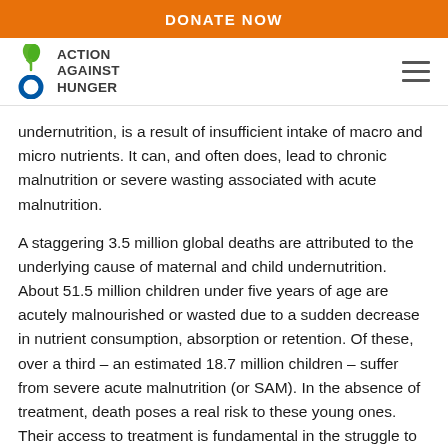DONATE NOW
[Figure (logo): Action Against Hunger logo with green leaf and blue circle icons]
undernutrition, is a result of insufficient intake of macro and micro nutrients. It can, and often does, lead to chronic malnutrition or severe wasting associated with acute malnutrition.
A staggering 3.5 million global deaths are attributed to the underlying cause of maternal and child undernutrition. About 51.5 million children under five years of age are acutely malnourished or wasted due to a sudden decrease in nutrient consumption, absorption or retention. Of these, over a third – an estimated 18.7 million children – suffer from severe acute malnutrition (or SAM). In the absence of treatment, death poses a real risk to these young ones. Their access to treatment is fundamental in the struggle to overcome malnutrition.